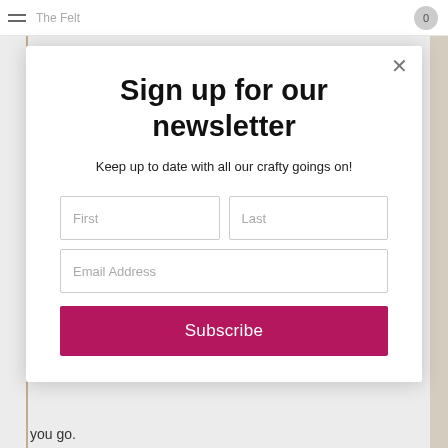The Felt
Sign up for our newsletter
Keep up to date with all our crafty goings on!
First
Last
Email Address
Subscribe
you go.